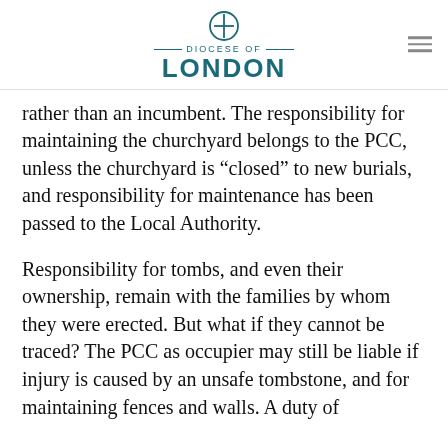Diocese of London
rather than an incumbent. The responsibility for maintaining the churchyard belongs to the PCC, unless the churchyard is “closed” to new burials, and responsibility for maintenance has been passed to the Local Authority.
Responsibility for tombs, and even their ownership, remain with the families by whom they were erected. But what if they cannot be traced? The PCC as occupier may still be liable if injury is caused by an unsafe tombstone, and for maintaining fences and walls. A duty of